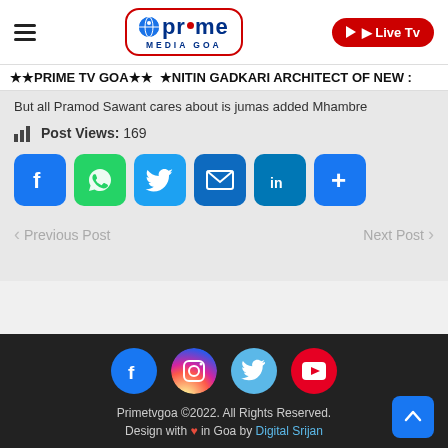[Figure (logo): Prime Media Goa logo with globe icon, red border rounded rectangle, and Live Tv red button in header]
★★PRIME TV GOA★★ ★NITIN GADKARI ARCHITECT OF NEW
But all Pramod Sawant cares about is jumas added Mhambre
Post Views: 169
[Figure (infographic): Row of social sharing icons: Facebook (blue), WhatsApp (green), Twitter (blue), Email (blue), LinkedIn (teal), More/Plus (blue)]
Previous Post
Next Post
[Figure (infographic): Footer social icons: Facebook (blue circle), Instagram (gradient circle), Twitter (light blue circle), YouTube (red circle)]
Primetvgoa ©2022. All Rights Reserved.
Design with ♥ in Goa by Digital Srijan